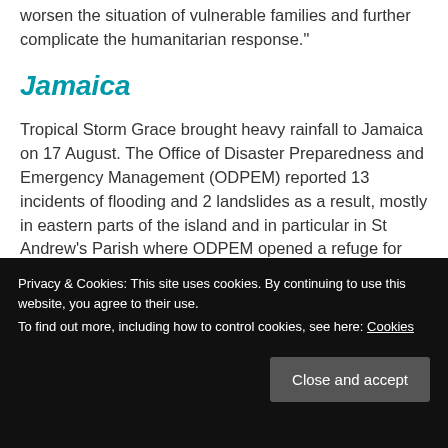worsen the situation of vulnerable families and further complicate the humanitarian response."
Jamaica
Tropical Storm Grace brought heavy rainfall to Jamaica on 17 August. The Office of Disaster Preparedness and Emergency Management (ODPEM) reported 13 incidents of flooding and 2 landslides as a result, mostly in eastern parts of the island and in particular in St Andrew's Parish where ODPEM opened a refuge for anyone displaced by flooding
near hurricane strength as it approaches